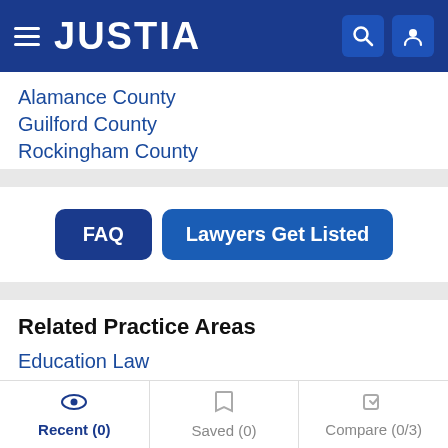JUSTIA
Alamance County
Guilford County
Rockingham County
FAQ
Lawyers Get Listed
Related Practice Areas
Education Law
Employment Law
Landlord Tenant
Recent (0)   Saved (0)   Compare (0/3)